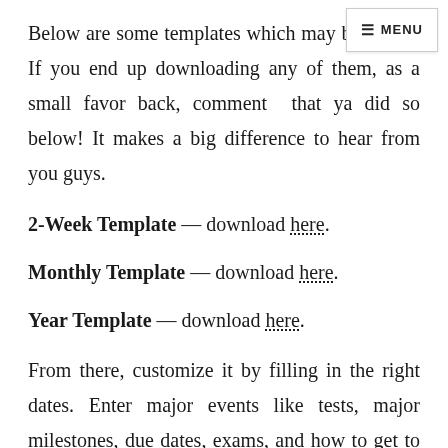Below are some templates which may be useful. If you end up downloading any of them, as a small favor back, comment that ya did so below! It makes a big difference to hear from you guys.
2-Week Template — download here.
Monthly Template — download here.
Year Template — download here.
From there, customize it by filling in the right dates. Enter major events like tests, major milestones, due dates, exams, and how to get to topics in the semester.